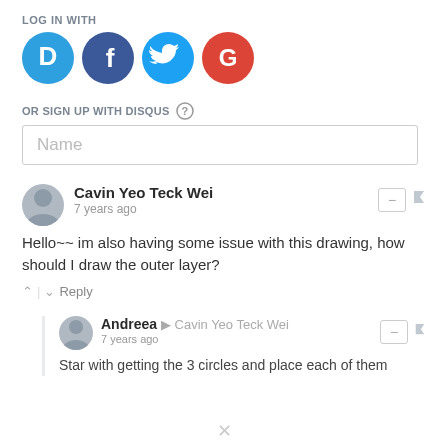LOG IN WITH
[Figure (illustration): Four social login icons: Disqus (cyan circle with D), Facebook (dark blue circle with f), Twitter (light blue circle with bird), Google (red circle with G)]
OR SIGN UP WITH DISQUS ?
Name
Cavin Yeo Teck Wei
7 years ago
Hello~~ im also having some issue with this drawing, how should I draw the outer layer?
^ | v Reply
Andreea → Cavin Yeo Teck Wei
7 years ago
Star with getting the 3 circles and place each of them